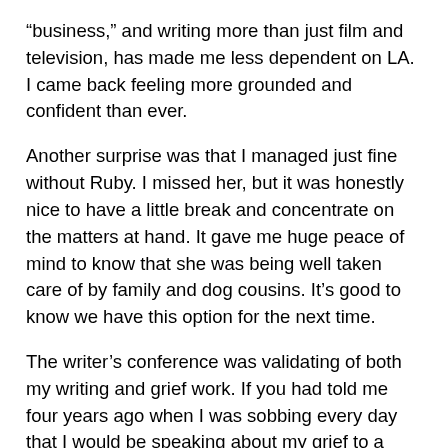“business,” and writing more than just film and television, has made me less dependent on LA. I came back feeling more grounded and confident than ever.
Another surprise was that I managed just fine without Ruby. I missed her, but it was honestly nice to have a little break and concentrate on the matters at hand. It gave me huge peace of mind to know that she was being well taken care of by family and dog cousins. It’s good to know we have this option for the next time.
The writer’s conference was validating of both my writing and grief work. If you had told me four years ago when I was sobbing every day that I would be speaking about my grief to a room full of strangers (as a visitor to LA, not a resident), I wouldn’t have believed you. On top of that, to be in the company of such accomplished writers was a